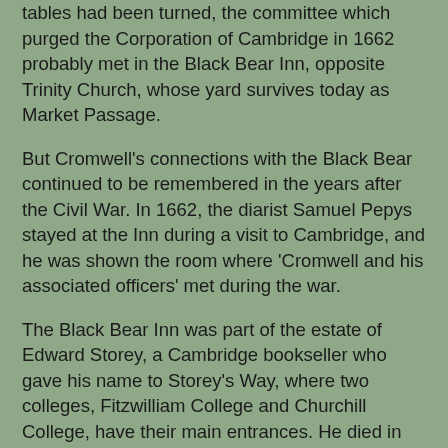tables had been turned, the committee which purged the Corporation of Cambridge in 1662 probably met in the Black Bear Inn, opposite Trinity Church, whose yard survives today as Market Passage.
But Cromwell's connections with the Black Bear continued to be remembered in the years after the Civil War. In 1662, the diarist Samuel Pepys stayed at the Inn during a visit to Cambridge, and he was shown the room where 'Cromwell and his associated officers' met during the war.
The Black Bear Inn was part of the estate of Edward Storey, a Cambridge bookseller who gave his name to Storey's Way, where two colleges, Fitzwilliam College and Churchill College, have their main entrances. He died in 1692 and is remembered today for the charitable foundation set up after his son's death, using rents and profits from his estate to provide almshouses for ten poor women of the parishes of Saint Giles and Holy Trinity in Cambridge.
The Black Bear Inn stood on the corner of Market Hill and Sidney Street, opposite Holy Trinity Church and what is now